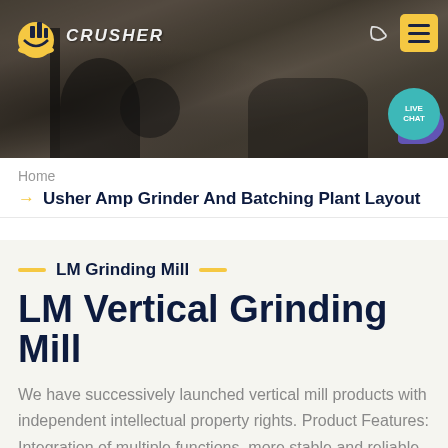[Figure (photo): Header banner showing industrial crusher/grinding machinery and rocky stone background with logo 'CRUSHER', moon icon, yellow menu button, and live chat bubble]
Home
Usher Amp Grinder And Batching Plant Layout
LM Grinding Mill
LM Vertical Grinding Mill
We have successively launched vertical mill products with independent intellectual property rights. Product Features: Integration of multiple functions, more stable and reliable production and more excellent capacity.